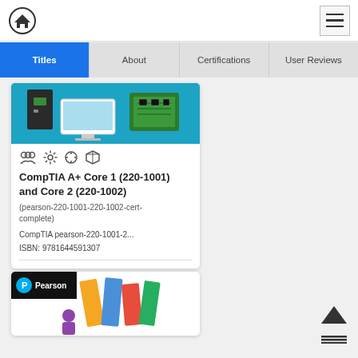Navigation bar with home icon and menu icon
Titles
About
Certifications
User Reviews
[Figure (screenshot): Product card showing CompTIA A+ Core 1 (220-1001) and Core 2 (220-1002) book with computer hardware cover image]
CompTIA A+ Core 1 (220-1001) and Core 2 (220-1002)
(pearson-220-1001-220-1002-cert-complete)
CompTIA pearson-220-1001-2...
ISBN: 9781644591307
[Figure (screenshot): Partial second product card showing Pearson logo and colorful book illustration]